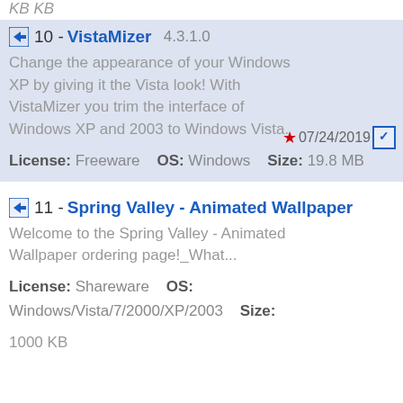KB KB
10 - VistaMizer 4.3.1.0 — Change the appearance of your Windows XP by giving it the Vista look! With VistaMizer you trim the interface of Windows XP and 2003 to Windows Vista. License: Freeware OS: Windows Size: 19.8 MB — 07/24/2019
11 - Spring Valley - Animated Wallpaper — Welcome to the Spring Valley - Animated Wallpaper ordering page!_What... License: Shareware OS: Windows/Vista/7/2000/XP/2003 Size: 1000 KB — 05/30/2018